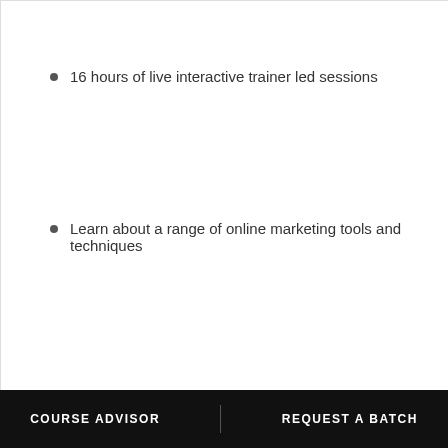16 hours of live interactive trainer led sessions
Learn about a range of online marketing tools and techniques
8 hou
Learn of you
30 Hrs    4
START LEARNING
< 01 / 03 >
COURSE ADVISOR   REQUEST A BATCH